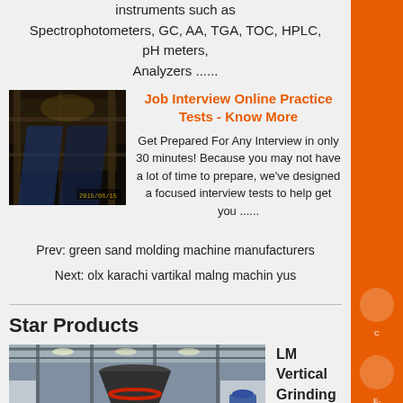instruments such as Spectrophotometers, GC, AA, TGA, TOC, HPLC, pH meters, Analyzers ......
[Figure (photo): Industrial facility interior, dark with industrial equipment]
Job Interview Online Practice Tests - Know More
Get Prepared For Any Interview in only 30 minutes! Because you may not have a lot of time to prepare, we've designed a focused interview tests to help get you ......
Prev: green sand molding machine manufacturers
Next: olx karachi vartikal malng machin yus
Star Products
[Figure (photo): Industrial grinding machine hanging in a large factory/warehouse]
LM Vertical Grinding